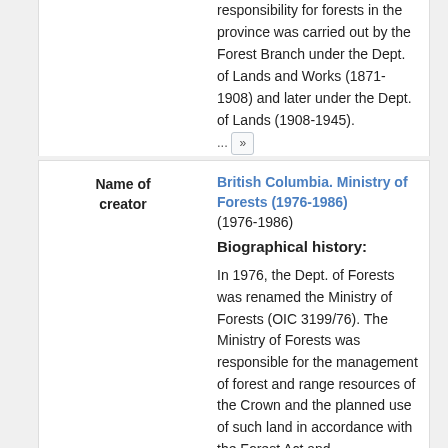responsibility for forests in the province was carried out by the Forest Branch under the Dept. of Lands and Works (1871-1908) and later under the Dept. of Lands (1908-1945). ... »
Name of creator
British Columbia. Ministry of Forests (1976-1986)
(1976-1986)
Biographical history:
In 1976, the Dept. of Forests was renamed the Ministry of Forests (OIC 3199/76). The Ministry of Forests was responsible for the management of forest and range resources of the Crown and the planned use of such land in accordance with the Forest Act and ... »